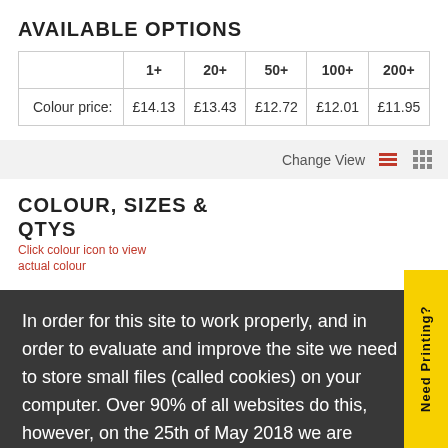AVAILABLE OPTIONS
|  | 1+ | 20+ | 50+ | 100+ | 200+ |
| --- | --- | --- | --- | --- | --- |
| Colour price: | £14.13 | £13.43 | £12.72 | £12.01 | £11.95 |
Change View
COLOUR, SIZES & QTYS
In order for this site to work properly, and in order to evaluate and improve the site we need to store small files (called cookies) on your computer. Over 90% of all websites do this, however, on the 25th of May 2018 we are required by EU regulations to obtain your consent first. What do you say?. Read More
Need Printing?